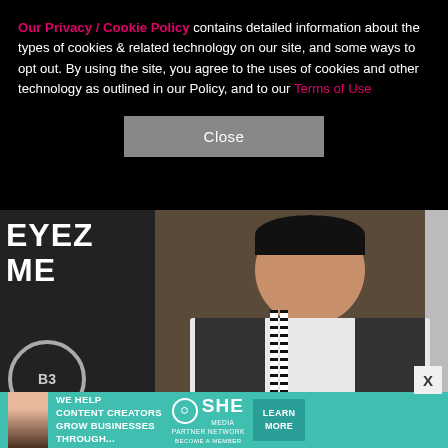Our Privacy / Cookie Policy contains detailed information about the types of cookies & related technology on our site, and some ways to opt out. By using the site, you agree to the uses of cookies and other technology as outlined in our Policy, and to our Terms of Use
[Figure (photo): A woman in a black and white patterned outfit posing at what appears to be a film premiere event with Summit Entertainment / Lionsgate backdrop. Event signage visible including 'EYEZ ME' text. BET logo visible at bottom left.]
[Figure (infographic): Advertisement banner: 'WE HELP CONTENT CREATORS GROW BUSINESSES THROUGH...' with SHE Partner Network logo and 'LEARN MORE' button on teal background.]